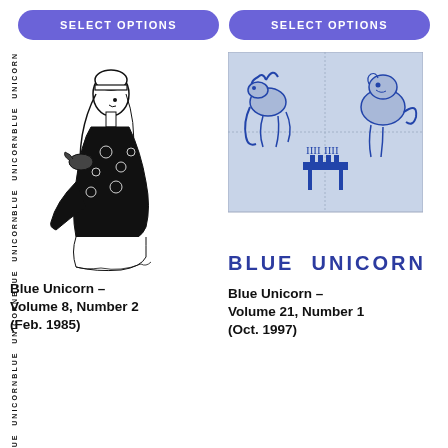SELECT OPTIONS (left button)
SELECT OPTIONS (right button)
[Figure (illustration): Book cover illustration for Blue Unicorn Volume 8, Number 2 (Feb. 1985) — shows a woman in black floral dress with spine text 'BLUE UNICORN' repeated vertically on the left side]
[Figure (illustration): Book cover for Blue Unicorn Volume 21, Number 1 (Oct. 1997) — shows a blue-tinted medieval tile illustration of two fantastical animal figures at a table with chess pieces, and 'BLUE UNICORN' text below]
Blue Unicorn – Volume 8, Number 2 (Feb. 1985)
Blue Unicorn – Volume 21, Number 1 (Oct. 1997)